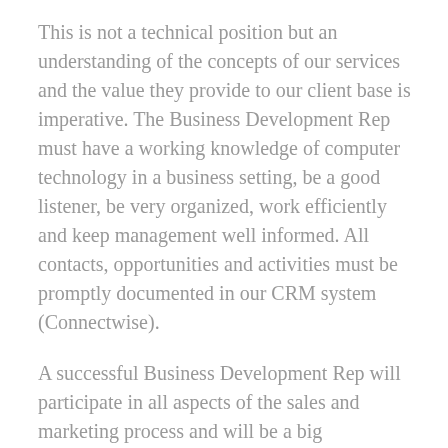This is not a technical position but an understanding of the concepts of our services and the value they provide to our client base is imperative. The Business Development Rep must have a working knowledge of computer technology in a business setting, be a good listener, be very organized, work efficiently and keep management well informed. All contacts, opportunities and activities must be promptly documented in our CRM system (Connectwise).
A successful Business Development Rep will participate in all aspects of the sales and marketing process and will be a big contributor toward the successful growth of the company.
This is a full time position that is paid a salary plus sales commissions. Additional benefits include paid